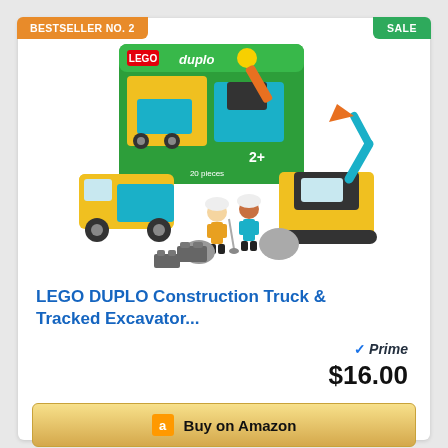BESTSELLER NO. 2
SALE
[Figure (photo): LEGO DUPLO Construction Truck and Tracked Excavator toy set product photo, showing the box and the assembled yellow truck, teal excavator, two construction worker figures, gray boulders, and gray LEGO bricks]
LEGO DUPLO Construction Truck & Tracked Excavator...
Prime
$16.00
Buy on Amazon